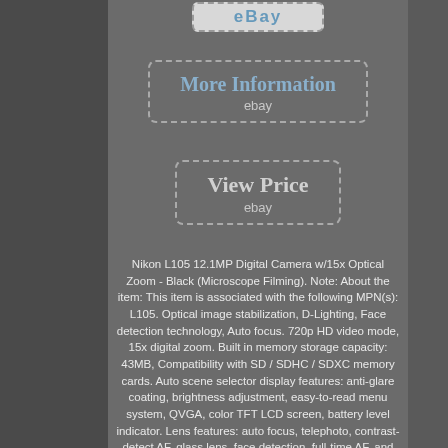[Figure (screenshot): eBay button at top, partially visible, light gray with dashed border]
[Figure (screenshot): More Information button with dashed border on gray background, with ebay label below]
[Figure (screenshot): View Price button with dashed border on gray background, with ebay label below]
Nikon L105 12.1MP Digital Camera w/15x Optical Zoom - Black (Microscope Filming). Note: About the item: This item is associated with the following MPN(s): L105. Optical image stabilization, D-Lighting, Face detection technology, Auto focus. 720p HD video mode, 15x digital zoom. Built in memory storage capacity: 43MB, Compatibility with SD / SDHC / SDXC memory cards. Auto scene selector display features: anti-glare coating, brightness adjustment, easy-to-read menu system, QVGA, color TFT LCD screen, battery level indicator. Lens features: auto focus, telephoto, contrast-detect AF, glass lens, face detection, full-time AF, and wide angle. Your business is greatly appreciated.